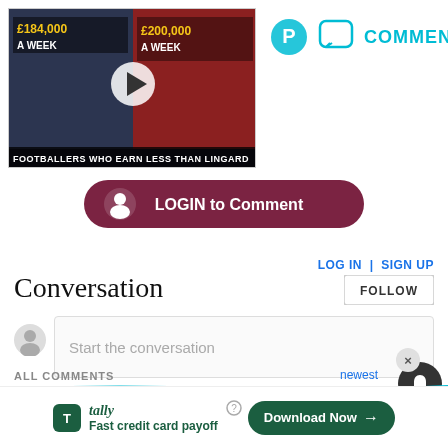[Figure (screenshot): Video thumbnail showing footballers with text '£184,000 A WEEK' and '£200,000 A WEEK', caption reads 'FOOTBALLERS WHO EARN LESS THAN LINGARD']
[Figure (screenshot): Pinterest icon and comment bubble icon with text COMMENTS in teal]
[Figure (screenshot): Dark red pill-shaped LOGIN to Comment button with user icon]
LOG IN | SIGN UP
Conversation
[Figure (screenshot): FOLLOW button]
Start the conversation
ALL COMMENTS
newest
[Figure (screenshot): Tally advertisement banner: 'Fast credit card payoff' with Download Now button]